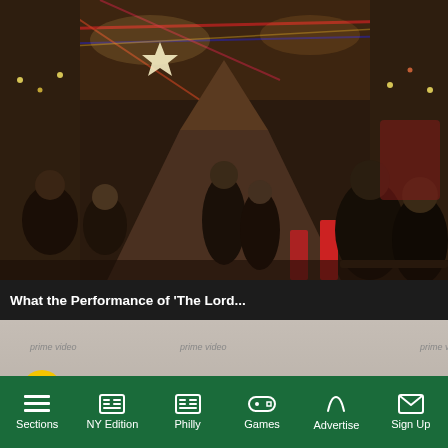[Figure (photo): Interior of a Christmas-decorated bar or restaurant with holiday lights, garlands, and patrons seated at tables. The space is narrow with decorations covering the ceiling and walls.]
[Figure (screenshot): Video overlay showing 'The Lord of the Rings: The Rings of Power' Amazon Prime Video promotional content with a woman in silver dress standing in front of a backdrop. A yellow mute button is visible.]
What the Performance of 'The Lord...
rst Miracle
014 with Miracle on ed holiday bar that
Sections  NY Edition  Philly  Games  Advertise  Sign Up